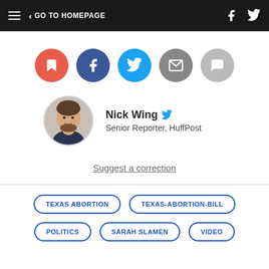GO TO HOMEPAGE
[Figure (infographic): Row of 5 circular social share buttons: bookmark (red), Facebook (dark blue), Twitter (light blue), email (gray), comment (light gray)]
[Figure (photo): Circular author headshot of Nick Wing with Twitter bird icon]
Nick Wing
Senior Reporter, HuffPost
Suggest a correction
TEXAS ABORTION
TEXAS-ABORTION-BILL
POLITICS
SARAH SLAMEN
VIDEO